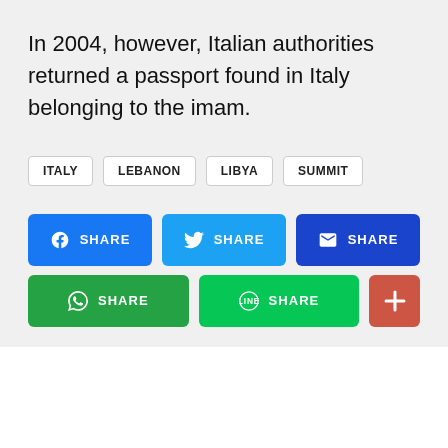In 2004, however, Italian authorities returned a passport found in Italy belonging to the imam.
ITALY
LEBANON
LIBYA
SUMMIT
[Figure (screenshot): Social share buttons: Facebook Share, Twitter Share, Email Share, WhatsApp Share, Line Share, and a plus button]